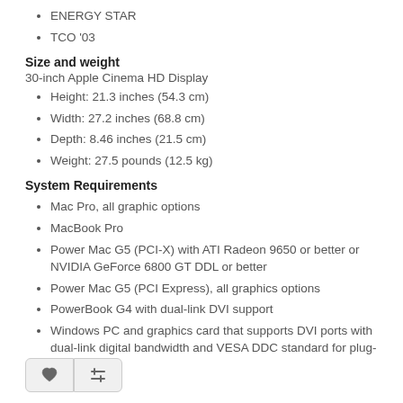ENERGY STAR
TCO '03
Size and weight
30-inch Apple Cinema HD Display
Height: 21.3 inches (54.3 cm)
Width: 27.2 inches (68.8 cm)
Depth: 8.46 inches (21.5 cm)
Weight: 27.5 pounds (12.5 kg)
System Requirements
Mac Pro, all graphic options
MacBook Pro
Power Mac G5 (PCI-X) with ATI Radeon 9650 or better or NVIDIA GeForce 6800 GT DDL or better
Power Mac G5 (PCI Express), all graphics options
PowerBook G4 with dual-link DVI support
Windows PC and graphics card that supports DVI ports with dual-link digital bandwidth and VESA DDC standard for plug-and-play setup